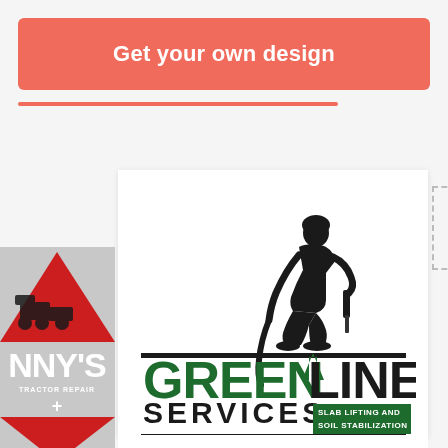Get your own design
[Figure (logo): Greenline Services logo: silhouette of worker kneeling with hose/drill tool, text GREENLINE in green and black block letters, SERVICES below, SLAB LIFTING AND SOIL STABILIZATION in green box]
Winner
[Figure (logo): Partial NNY's tractor repair logo with red triangle, machinery illustration and NNY'S text in white]